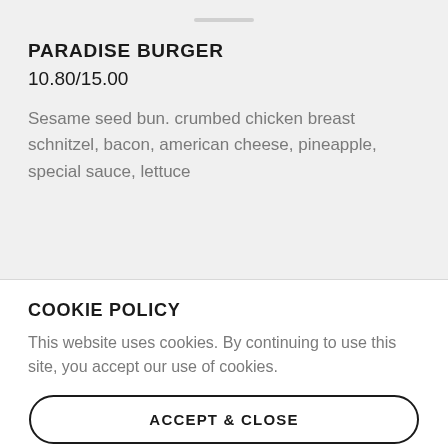PARADISE BURGER
10.80/15.00
Sesame seed bun. crumbed chicken breast schnitzel, bacon, american cheese, pineapple, special sauce, lettuce
COOKIE POLICY
This website uses cookies. By continuing to use this site, you accept our use of cookies.
ACCEPT & CLOSE